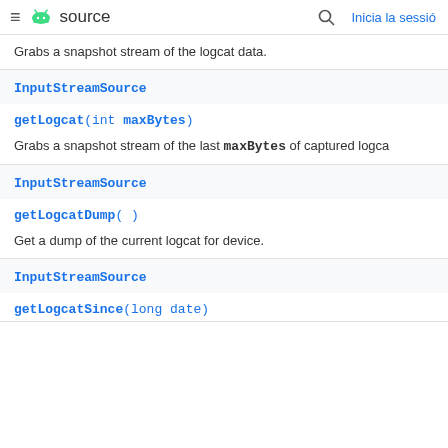≡ source | 🔍 Inicia la sessió
Grabs a snapshot stream of the logcat data.
InputStreamSource
getLogcat(int maxBytes)
Grabs a snapshot stream of the last maxBytes of captured logca
InputStreamSource
getLogcatDump()
Get a dump of the current logcat for device.
InputStreamSource
getLogcatSince(long date)